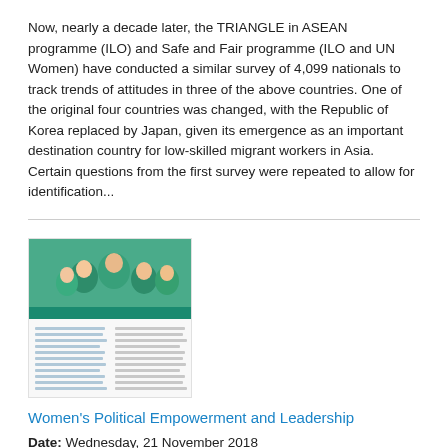Now, nearly a decade later, the TRIANGLE in ASEAN programme (ILO) and Safe and Fair programme (ILO and UN Women) have conducted a similar survey of 4,099 nationals to track trends of attitudes in three of the above countries. One of the original four countries was changed, with the Republic of Korea replaced by Japan, given its emergence as an important destination country for low-skilled migrant workers in Asia. Certain questions from the first survey were repeated to allow for identification...
[Figure (photo): Thumbnail image of a document page about Women's Political Empowerment and Leadership, showing a cover photo of women and text columns below.]
Women's Political Empowerment and Leadership
Date: Wednesday, 21 November 2018
Gender equality lies at the core of human rights and is the bedrock from which sustainable development can be achieved. Women and girls represent 50 per cent of the world's population, yet are often excluded from the political arena, and shut out of decision-making that directly affects their lives. Increasing women's political